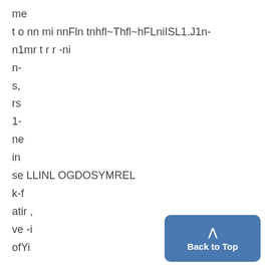me
t o nn mi nnFln tnhfl~Thfl~hFLniISL1.J1n-
n1mr t r r -ni
n-
s,
rs
1-
ne
in
se LLINL OGDOSYMREL
k-f
atir ,
ve -i
ofYi